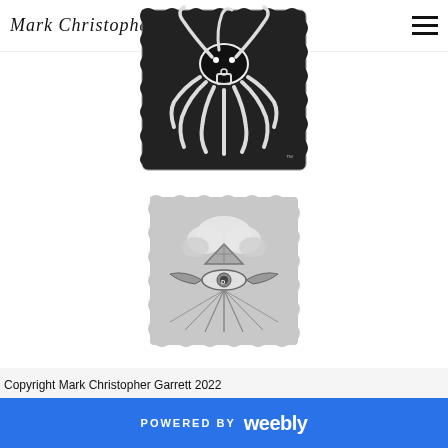Mark Christopher Garrett
[Figure (illustration): Black and white stylized octopus logo with tentacles forming decorative swirling patterns on a black background with torn/rough edges, with a small circle and rectangle forming a body shape in the center. TM mark visible.]
[Figure (illustration): Grayscale illustration on stamp-like background with torn edges showing a winged eye with a pyramid and clouds above it, radiating light rays below.]
Copyright Mark Christopher Garrett 2022
POWERED BY weebly